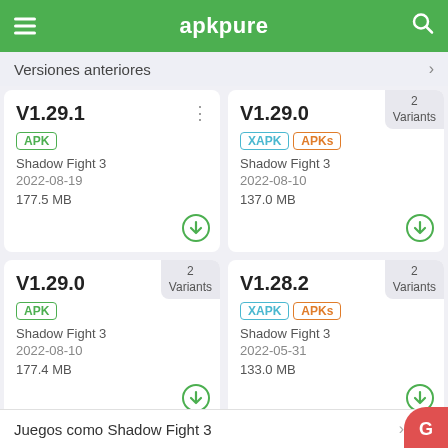apkpure
Versiones anteriores
V1.29.1
APK
Shadow Fight 3
2022-08-19
177.5 MB
V1.29.0
XAPK APKs
Shadow Fight 3
2022-08-10
137.0 MB
2 Variants
V1.29.0
APK
Shadow Fight 3
2022-08-10
177.4 MB
2 Variants
V1.28.2
XAPK APKs
Shadow Fight 3
2022-05-31
133.0 MB
2 Variants
Juegos como Shadow Fight 3